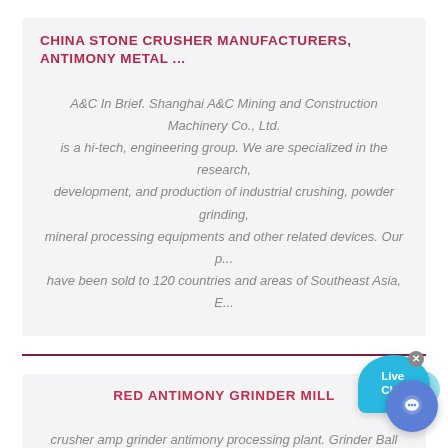CHINA STONE CRUSHER MANUFACTURERS, ANTIMONY METAL ...
A&C In Brief. Shanghai A&C Mining and Construction Machinery Co., Ltd. is a hi-tech, engineering group. We are specialized in the research, development, and production of industrial crushing, powder grinding, mineral processing equipments and other related devices. Our p... have been sold to 120 countries and areas of Southeast Asia, E...
RED ANTIMONY GRINDER MILL
crusher amp grinder antimony processing plant. Grinder Ball M... For Lead Oxide red antimony grinder mill oct lead alloys lead b... lead selenium lead calcium lead copper lead tin solder alloys etc red lead